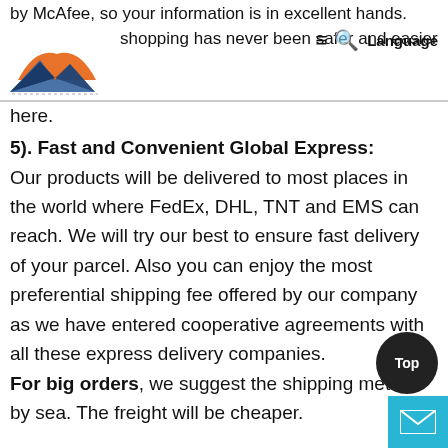by McAfee, so your information is in excellent hands. Online shopping has never been safer and easier here.
5). Fast and Convenient Global Express:
Our products will be delivered to most places in the world where FedEx, DHL, TNT and EMS can reach. We will try our best to ensure fast delivery of your parcel. Also you can enjoy the most preferential shipping fee offered by our company as we have entered cooperative agreements with all these express delivery companies. For big orders, we suggest the shipping method by sea. The freight will be cheaper.